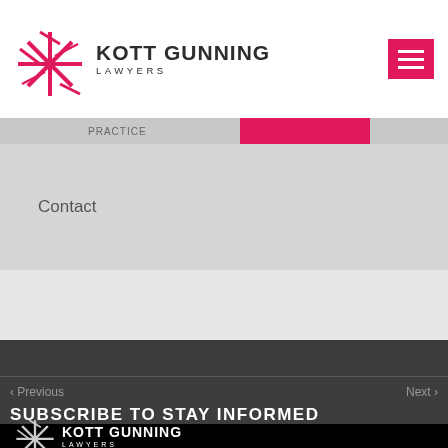KOTT GUNNING LAWYERS
Contact
‹ Previous
Next ›
SUBSCRIBE TO STAY INFORMED
[Figure (logo): Kott Gunning Lawyers logo — white starburst/asterisk mark with white text KOTT GUNNING LAWYERS on black background]